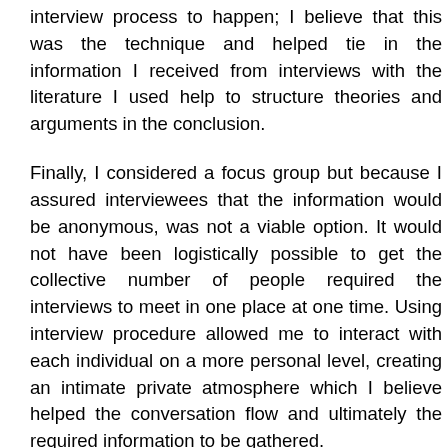interview process to happen; I believe that this was the technique and helped tie in the information I received from interviews with the literature I used help to structure theories and arguments in the conclusion.
Finally, I considered a focus group but because I assured interviewees that the information would be anonymous, was not a viable option. It would not have been logistically possible to get the collective number of people required the interviews to meet in one place at one time. Using interview procedure allowed me to interact with each individual on a more personal level, creating an intimate private atmosphere which I believe helped the conversation flow and ultimately the required information to be gathered.
Sampling
To keep the anonymity of the charities and fundraising fi